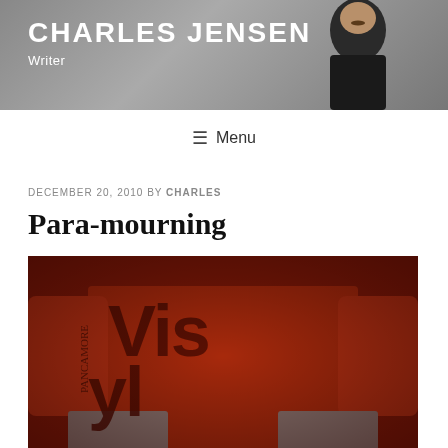CHARLES JENSEN
Writer
≡ Menu
DECEMBER 20, 2010 BY CHARLES
Para-mourning
[Figure (photo): A person's torso wearing an orange/red t-shirt with dark graphic text reading 'Vis' and other letters, with arms showing tattoos or dark clothing, reddish-toned photo]